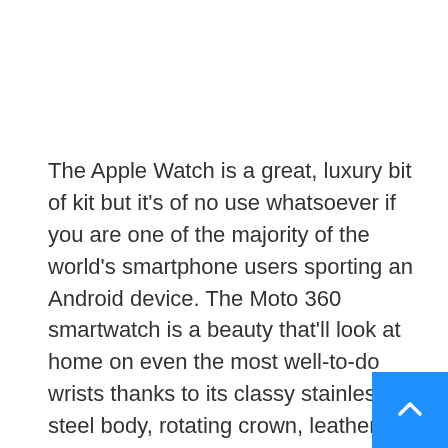The Apple Watch is a great, luxury bit of kit but it's of no use whatsoever if you are one of the majority of the world's smartphone users sporting an Android device. The Moto 360 smartwatch is a beauty that'll look at home on even the most well-to-do wrists thanks to its classy stainless-steel body, rotating crown, leather strap and weighty feel.
This is the third generation Motorola watch, and it seems that this time they have nailed the balance right between form and functionality. It is powered by WearOS (that's Android's but you can use it with